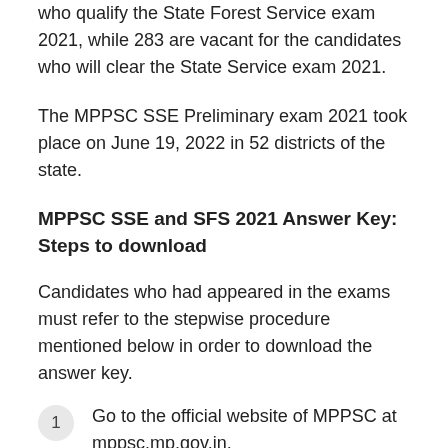who qualify the State Forest Service exam 2021, while 283 are vacant for the candidates who will clear the State Service exam 2021.
The MPPSC SSE Preliminary exam 2021 took place on June 19, 2022 in 52 districts of the state.
MPPSC SSE and SFS 2021 Answer Key: Steps to download
Candidates who had appeared in the exams must refer to the stepwise procedure mentioned below in order to download the answer key.
Go to the official website of MPPSC at mppsc.mp.gov.in.
Under the 'What's New' section available on the homepage, click on the link that reads 'Revised provisional answer key - State Service and State